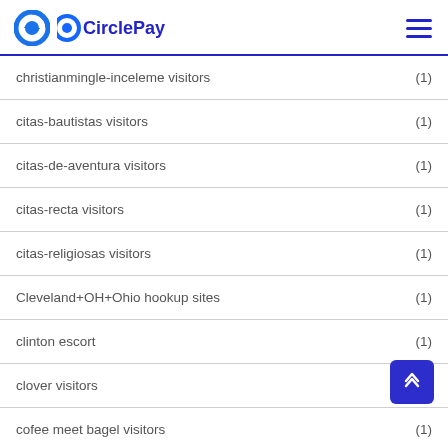CirclePay
christianmingle-inceleme visitors (1)
citas-bautistas visitors (1)
citas-de-aventura visitors (1)
citas-recta visitors (1)
citas-religiosas visitors (1)
Cleveland+OH+Ohio hookup sites (1)
clinton escort (1)
clover visitors (2)
cofee meet bagel visitors (1)